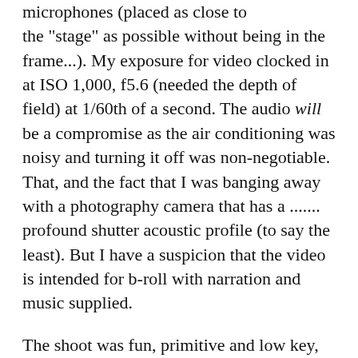microphones (placed as close to the "stage" as possible without being in the frame...). My exposure for video clocked in at ISO 1,000, f5.6 (needed the depth of field) at 1/60th of a second. The audio will be a compromise as the air conditioning was noisy and turning it off was non-negotiable. That, and the fact that I was banging away with a photography camera that has a ....... profound shutter acoustic profile (to say the least). But I have a suspicion that the video is intended for b-roll with narration and music supplied.
The shoot was fun, primitive and low key, by comparison to all other  recent projects. But how nice it was not to have a pressing deadline, nervous clients and a committee to answer to.
Kind of reminds me that sometimes we do this photography thing because it can be fun. Novel that. A nice capper for the week.